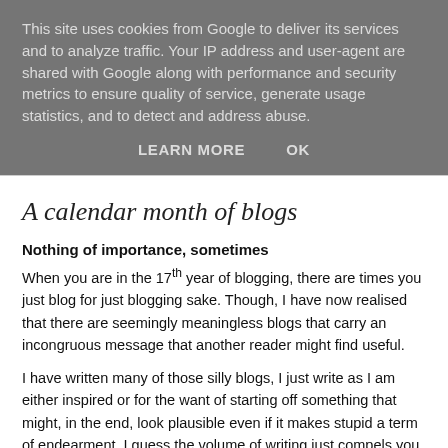This site uses cookies from Google to deliver its services and to analyze traffic. Your IP address and user-agent are shared with Google along with performance and security metrics to ensure quality of service, generate usage statistics, and to detect and address abuse.
LEARN MORE   OK
A calendar month of blogs
Nothing of importance, sometimes
When you are in the 17th year of blogging, there are times you just blog for just blogging sake. Though, I have now realised that there are seemingly meaningless blogs that carry an incongruous message that another reader might find useful.
I have written many of those silly blogs, I just write as I am either inspired or for the want of starting off something that might, in the end, look plausible even if it makes stupid a term of endearment. I guess the volume of writing just compels you to do more.